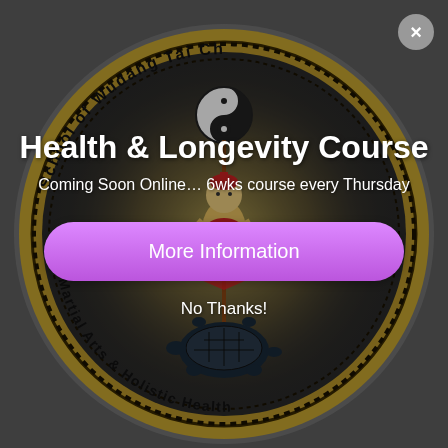[Figure (logo): Circular medallion logo for the School of Wudang Tai Chi, Martial Arts & Holistic Health. Gold and black circular border with text around the edge. Center features a Taoist warrior figure with yin-yang symbol above, and a black tortoise with snake below. Background is a dark grey overlay.]
Health & Longevity Course
Coming Soon Online… 6wks course every Thursday
More Information
No Thanks!